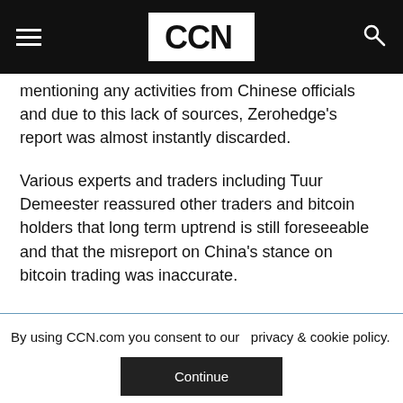CCN
mentioning any activities from Chinese officials and due to this lack of sources, Zerohedge's report was almost instantly discarded.
Various experts and traders including Tuur Demeester reassured other traders and bitcoin holders that long term uptrend is still foreseeable and that the misreport on China's stance on bitcoin trading was inaccurate.
By using CCN.com you consent to our  privacy & cookie policy.
Continue